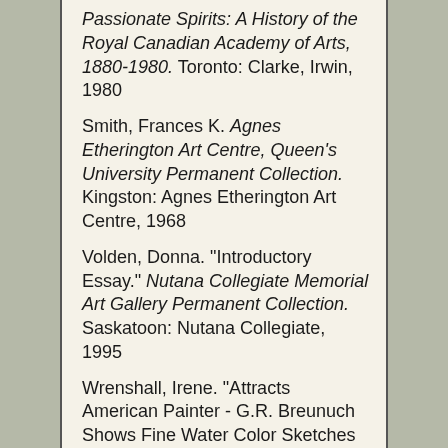Passionate Spirits: A History of the Royal Canadian Academy of Arts, 1880-1980. Toronto: Clarke, Irwin, 1980
Smith, Frances K. Agnes Etherington Art Centre, Queen's University Permanent Collection. Kingston: Agnes Etherington Art Centre, 1968
Volden, Donna. "Introductory Essay." Nutana Collegiate Memorial Art Gallery Permanent Collection. Saskatoon: Nutana Collegiate, 1995
Wrenshall, Irene. "Attracts American Painter - G.R. Breunuch Shows Fine Water Color Sketches of Norway - News Notes of the Week." Toronto Sunday